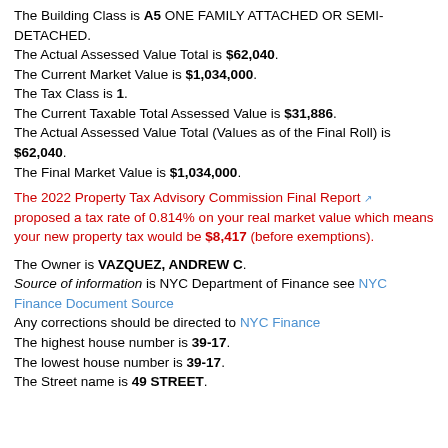The Building Class is A5 ONE FAMILY ATTACHED OR SEMI-DETACHED. The Actual Assessed Value Total is $62,040. The Current Market Value is $1,034,000. The Tax Class is 1. The Current Taxable Total Assessed Value is $31,886. The Actual Assessed Value Total (Values as of the Final Roll) is $62,040. The Final Market Value is $1,034,000.
The 2022 Property Tax Advisory Commission Final Report [link] proposed a tax rate of 0.814% on your real market value which means your new property tax would be $8,417 (before exemptions).
The Owner is VAZQUEZ, ANDREW C. Source of information is NYC Department of Finance see NYC Finance Document Source Any corrections should be directed to NYC Finance The highest house number is 39-17. The lowest house number is 39-17. The Street name is 49 STREET.